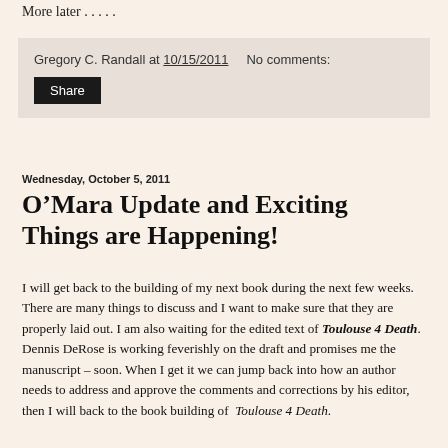More later . . . . .
Gregory C. Randall at 10/15/2011   No comments:
Share
Wednesday, October 5, 2011
O’Mara Update and Exciting Things are Happening!
I will get back to the building of my next book during the next few weeks. There are many things to discuss and I want to make sure that they are properly laid out. I am also waiting for the edited text of Toulouse 4 Death. Dennis DeRose is working feverishly on the draft and promises me the manuscript – soon. When I get it we can jump back into how an author needs to address and approve the comments and corrections by his editor, then I will back to the book building of  Toulouse 4 Death.